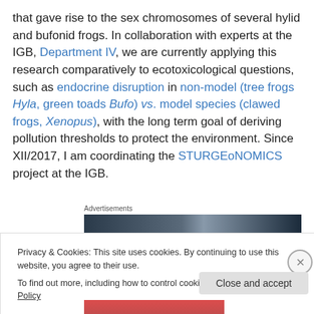that gave rise to the sex chromosomes of several hylid and bufonid frogs. In collaboration with experts at the IGB, Department IV, we are currently applying this research comparatively to ecotoxicological questions, such as endocrine disruption in non-model (tree frogs Hyla, green toads Bufo) vs. model species (clawed frogs, Xenopus), with the long term goal of deriving pollution thresholds to protect the environment. Since XII/2017, I am coordinating the STURGEoNOMICS project at the IGB.
Advertisements
[Figure (photo): Partial advertisement image showing a dark gradient banner]
Privacy & Cookies: This site uses cookies. By continuing to use this website, you agree to their use.
To find out more, including how to control cookies, see here: Cookie Policy
Close and accept